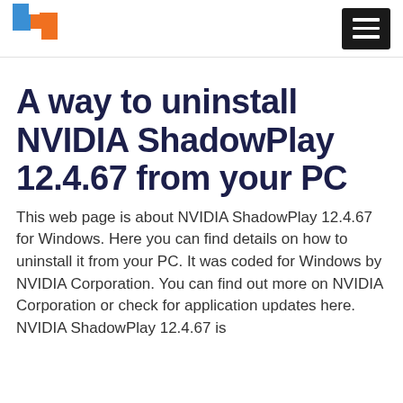[Logo: Auslogics/Windows utility site logo] [Hamburger menu icon]
A way to uninstall NVIDIA ShadowPlay 12.4.67 from your PC
This web page is about NVIDIA ShadowPlay 12.4.67 for Windows. Here you can find details on how to uninstall it from your PC. It was coded for Windows by NVIDIA Corporation. You can find out more on NVIDIA Corporation or check for application updates here. NVIDIA ShadowPlay 12.4.67 is